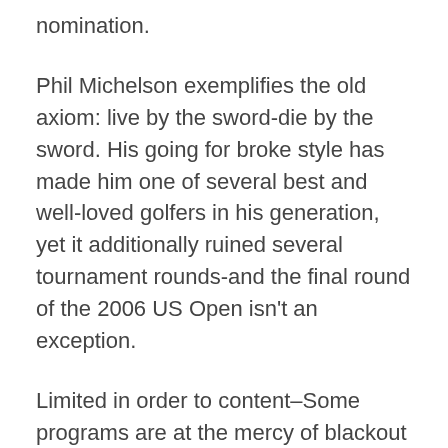nomination.
Phil Michelson exemplifies the old axiom: live by the sword-die by the sword. His going for broke style has made him one of several best and well-loved golfers in his generation, yet it additionally ruined several tournament rounds-and the final round of the 2006 US Open isn't an exception.
Limited in order to content–Some programs are at the mercy of blackout limitations. Certain local MLB broadcast stations or regional networks own the rights however for events and allow their content regarding viewed on other communities.
In other words, on no other level of gambling, sports or otherwise, does a bettor have such complete and open